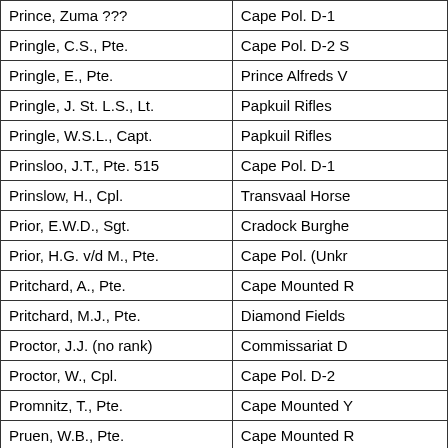| Name | Unit |
| --- | --- |
| Prince, Zuma  ??? | Cape Pol. D-1 |
| Pringle, C.S., Pte. | Cape Pol. D-2  S |
| Pringle, E., Pte. | Prince Alfreds V |
| Pringle, J. St. L.S., Lt. | Papkuil Rifles |
| Pringle, W.S.L., Capt. | Papkuil Rifles |
| Prinsloo, J.T., Pte.  515 | Cape Pol. D-1 |
| Prinslow, H., Cpl. | Transvaal Horse |
| Prior, E.W.D., Sgt. | Cradock Burghe |
| Prior, H.G. v/d M., Pte. | Cape Pol. (Unkr |
| Pritchard, A., Pte. | Cape Mounted R |
| Pritchard, M.J., Pte. | Diamond Fields |
| Proctor, J.J.   (no rank) | Commissariat D |
| Proctor, W., Cpl. | Cape Pol. D-2 |
| Promnitz, T., Pte. | Cape Mounted Y |
| Pruen, W.B., Pte. | Cape Mounted R |
| Pryor, T.P., Pte. | Nesbitts Light H |
| Pugh, C.F., Pte.  917 | Cape Pol. D-1 |
| Pulapi  781 | Cape Pol. D-1  N |
| Punnett, H.R., Lt. | D.E.O.V.R. |
| Purcell, J.F., Pte. | Cape Mounted R |